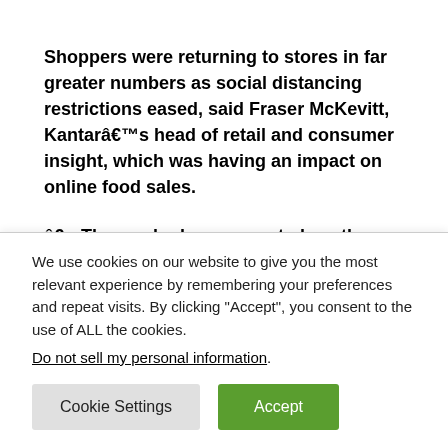Shoppers were returning to stores in far greater numbers as social distancing restrictions eased, said Fraser McKevitt, Kantarâ€™s head of retail and consumer insight, which was having an impact on online food sales.

â€œThose who have come to love the convenience of an online shop are sticking with it,â€ he said. â€œBut the unconverted are starting to drop away, preferring to get back
We use cookies on our website to give you the most relevant experience by remembering your preferences and repeat visits. By clicking "Accept", you consent to the use of ALL the cookies.
Do not sell my personal information.